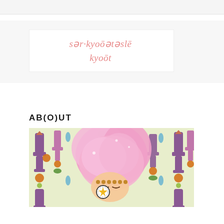sər·kyoōətəslē kyoōt
AB(O)UT
[Figure (illustration): Colorful illustrated character - a stylized figure with a large pink cotton-candy-like hair/head, wearing decorative accessories including a star badge, against a patterned background with purple vase and ornament motifs on a light yellow-green background.]